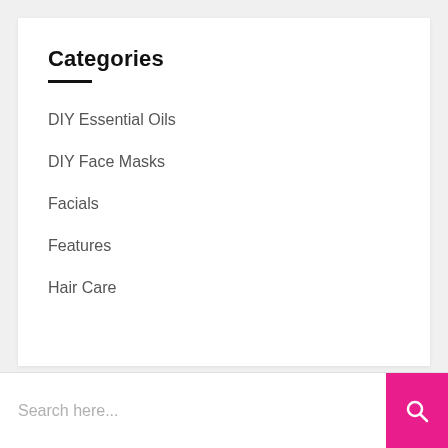Categories
DIY Essential Oils
DIY Face Masks
Facials
Features
Hair Care
Search here...